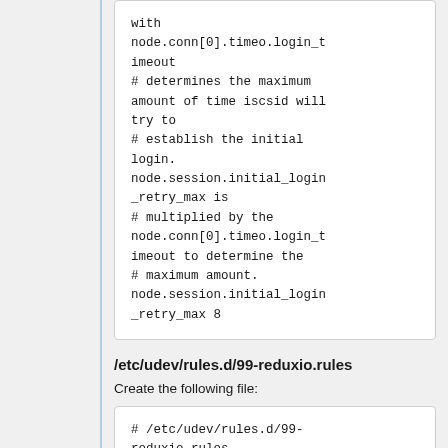with node.conn[0].timeo.login_timeout
# determines the maximum amount of time iscsid will try to
# establish the initial login. node.session.initial_login_retry_max is
# multiplied by the node.conn[0].timeo.login_timeout to determine the
# maximum amount. node.session.initial_login_retry_max 8
/etc/udev/rules.d/99-reduxio.rules
Create the following file:
# /etc/udev/rules.d/99-reduxio.rules